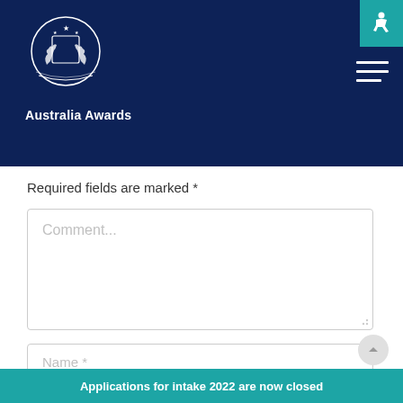Australia Awards
Required fields are marked *
Comment...
Name *
Email *
Applications for intake 2022 are now closed